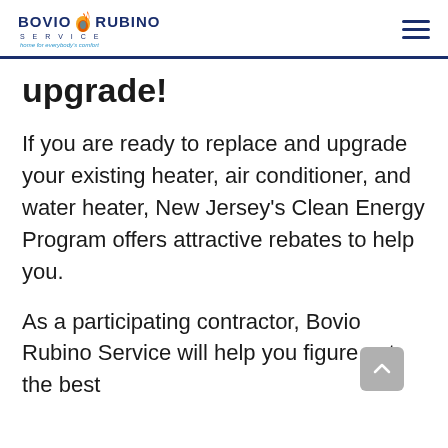[Figure (logo): Bovio Rubino Service logo with flame icon, tagline text below]
upgrade!
If you are ready to replace and upgrade your existing heater, air conditioner, and water heater, New Jersey’s Clean Energy Program offers attractive rebates to help you.
As a participating contractor, Bovio Rubino Service will help you figure out the best